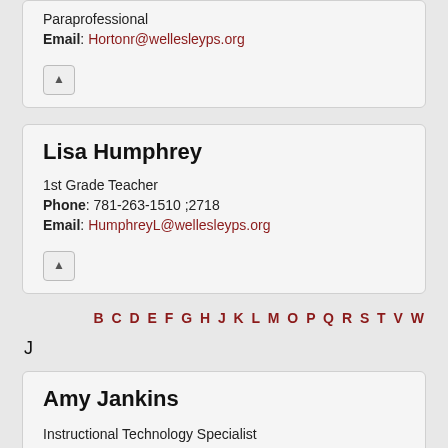Paraprofessional
Email: Hortonr@wellesleyps.org
Lisa Humphrey
1st Grade Teacher
Phone: 781-263-1510 ;2718
Email: HumphreyL@wellesleyps.org
B C D E F G H J K L M O P Q R S T V W
J
Amy Jankins
Instructional Technology Specialist
Technology